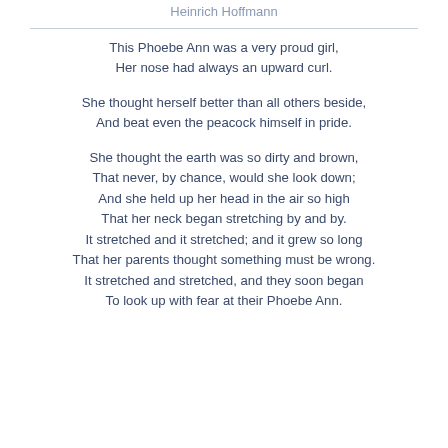Heinrich Hoffmann
This Phoebe Ann was a very proud girl,
Her nose had always an upward curl.

She thought herself better than all others beside,
And beat even the peacock himself in pride.

She thought the earth was so dirty and brown,
That never, by chance, would she look down;
And she held up her head in the air so high
That her neck began stretching by and by.
It stretched and it stretched; and it grew so long
That her parents thought something must be wrong.
It stretched and stretched, and they soon began
To look up with fear at their Phoebe Ann.